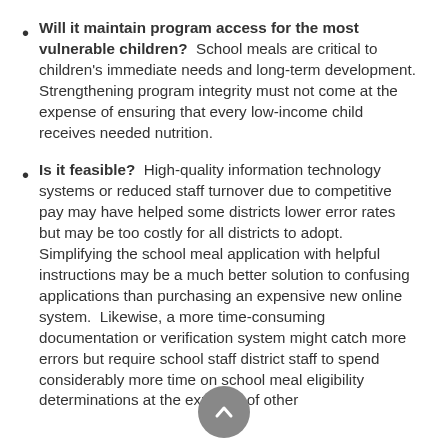Will it maintain program access for the most vulnerable children? School meals are critical to children's immediate needs and long-term development. Strengthening program integrity must not come at the expense of ensuring that every low-income child receives needed nutrition.
Is it feasible? High-quality information technology systems or reduced staff turnover due to competitive pay may have helped some districts lower error rates but may be too costly for all districts to adopt. Simplifying the school meal application with helpful instructions may be a much better solution to confusing applications than purchasing an expensive new online system. Likewise, a more time-consuming documentation or verification system might catch more errors but require school staff district staff to spend considerably more time on school meal eligibility determinations at the expense of other